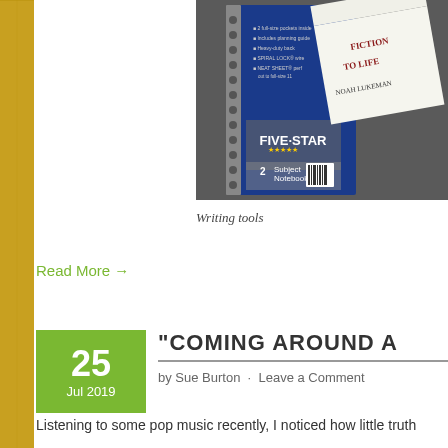[Figure (photo): Photo of a Five Star 2 Subject Notebook and books including 'Fiction to Life' by Noah Lukeman, on a dark background]
Writing tools
Read More →
25 Jul 2019
“COMING AROUND A
by Sue Burton · Leave a Comment
Listening to some pop music recently, I noticed how little truth